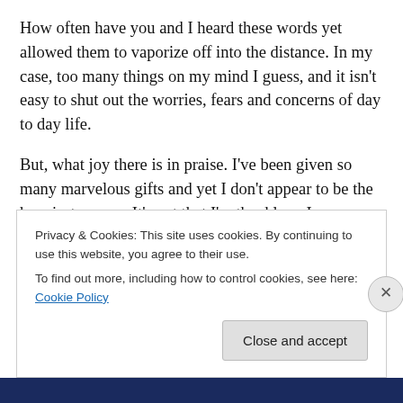How often have you and I heard these words yet allowed them to vaporize off into the distance. In my case, too many things on my mind I guess, and it isn't easy to shut out the worries, fears and concerns of day to day life.
But, what joy there is in praise. I've been given so many marvelous gifts and yet I don't appear to be the happiest person. It's not that I'm thankless. I am thankful. It's just I don't slow down enough to let God show me the life that can be mine.
The pivotal scene in Pollyanna, I think, is when she visits
Privacy & Cookies: This site uses cookies. By continuing to use this website, you agree to their use.
To find out more, including how to control cookies, see here: Cookie Policy